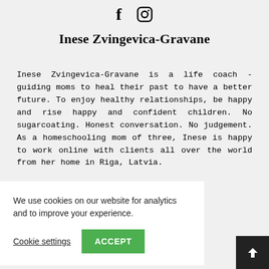[Figure (logo): Facebook and Instagram social media icons at top center]
Inese Zvingevica-Gravane
Inese Zvingevica-Gravane is a life coach - guiding moms to heal their past to have a better future. To enjoy healthy relationships, be happy and rise happy and confident children. No sugarcoating. Honest conversation. No judgement. As a homeschooling mom of three, Inese is happy to work online with clients all over the world from her home in Riga, Latvia.
er website agram and _consciously Moms Club nest “mom”
We use cookies on our website for analytics and to improve your experience.
Cookie settings   ACCEPT